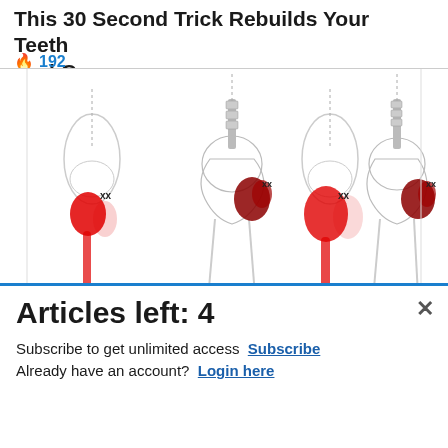This 30 Second Trick Rebuilds Your Teeth And Gums
🔥 192
[Figure (illustration): Medical illustration showing four views of hip/gluteal anatomy with red highlighted pain/muscle areas on human body outlines, indicating trigger points and referred pain patterns.]
[Figure (infographic): Commissary Click2Go advertisement banner with green circle logo, Commissary badge, text reading 'order groceries' and 'PICKUP']
Articles left: 4
Subscribe to get unlimited access  Subscribe
Already have an account?  Login here